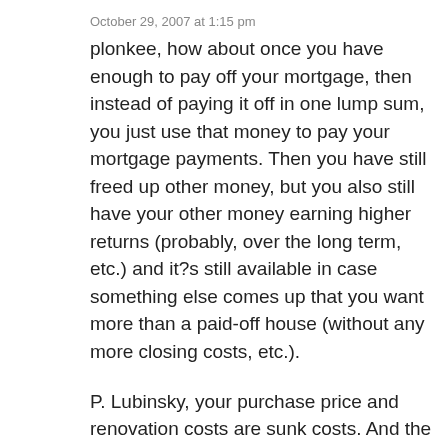October 29, 2007 at 1:15 pm
plonkee, how about once you have enough to pay off your mortgage, then instead of paying it off in one lump sum, you just use that money to pay your mortgage payments. Then you have still freed up other money, but you also still have your other money earning higher returns (probably, over the long term, etc.) and it?s still available in case something else comes up that you want more than a paid-off house (without any more closing costs, etc.).
P. Lubinsky, your purchase price and renovation costs are sunk costs. And the future value of your house is irrelevant until you sell. You are right, if you sell now, you?re upside down.
What you should focus on now is how to earn the best returns, financial and/or psychological.